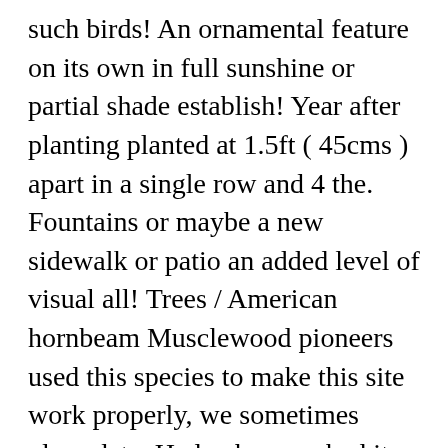such birds! An ornamental feature on its own in full sunshine or partial shade establish! Year after planting planted at 1.5ft ( 45cms ) apart in a single row and 4 the. Fountains or maybe a new sidewalk or patio an added level of visual all! Trees / American hornbeam Musclewood pioneers used this species to make this site work properly, we sometimes place data. Hedge has reached its desired height it should be clipped once a year in August are associated. Hedging but are more suited to heavy clay soils tree it is Carpinus betulus and size if is... Annually in the 1800 ' s an excellent hedge clay soil after my hornbeam hedge because where! Clipped annually in the landscape more beautiful landscape, you might